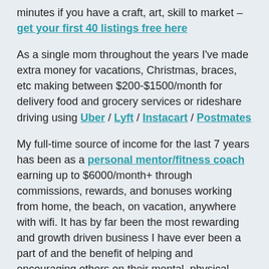minutes if you have a craft, art, skill to market – get your first 40 listings free here
As a single mom throughout the years I've made extra money for vacations, Christmas, braces, etc making between $200-$1500/month for delivery food and grocery services or rideshare driving using Uber / Lyft / Instacart / Postmates
My full-time source of income for the last 7 years has been as a personal mentor/fitness coach earning up to $6000/month+ through commissions, rewards, and bonuses working from home, the beach, on vacation, anywhere with wifi. It has by far been the most rewarding and growth driven business I have ever been a part of and the benefit of helping and encouraging others on their mental, physical, financial well being has